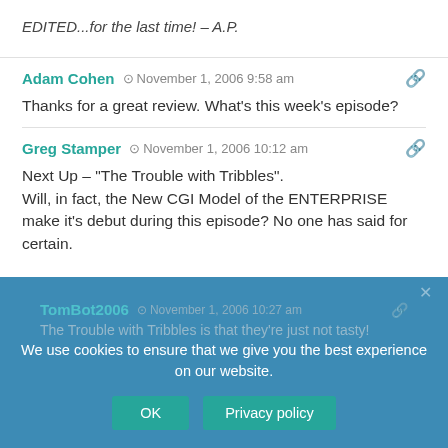EDITED...for the last time! – A.P.
Adam Cohen  November 1, 2006 9:58 am
Thanks for a great review. What's this week's episode?
Greg Stamper  November 1, 2006 10:12 am
Next Up – "The Trouble with Tribbles".
Will, in fact, the New CGI Model of the ENTERPRISE make it's debut during this episode? No one has said for certain.
We use cookies to ensure that we give you the best experience on our website.
TomBot2006  November 1, 2006 10:27 am
The Trouble with Tribbles is that they're just not tasty!